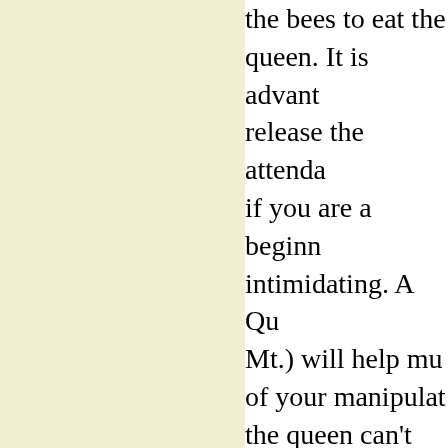[Figure (other): Light yellow/cream colored rectangular panel on the left side of the page]
the bees to eat the queen. It is advantageous to release the attendants if you are a beginning intimidating. A Qu Mt.) will help mu of your manipulat the queen can't fly the queen and put will usually run ba
Push In Cage. Th release for a layin this is to give the